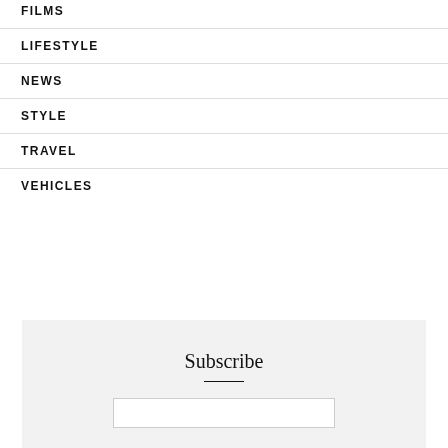FILMS
LIFESTYLE
NEWS
STYLE
TRAVEL
VEHICLES
Subscribe